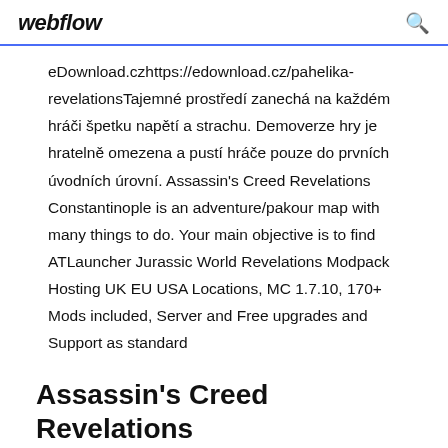webflow
eDownload.czhttps://edownload.cz/pahelika-revelationsTajemné prostředí zanechá na každém hráči špetku napětí a strachu. Demoverze hry je hratelně omezena a pustí hráče pouze do prvních úvodních úrovní. Assassin's Creed Revelations Constantinople is an adventure/pakour map with many things to do. Your main objective is to find ATLauncher Jurassic World Revelations Modpack Hosting UK EU USA Locations, MC 1.7.10, 170+ Mods included, Server and Free upgrades and Support as standard
Assassin's Creed Revelations